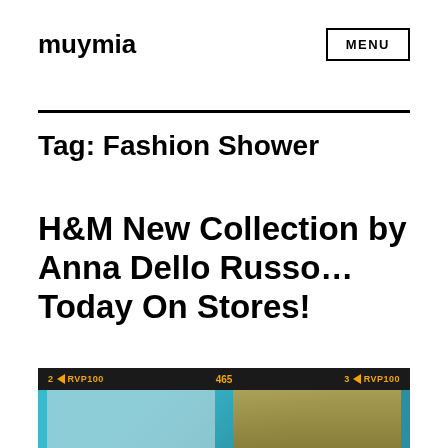muymia
MENU
Tag: Fashion Shower
H&M New Collection by Anna Dello Russo… Today On Stores!
[Figure (photo): A photograph showing teal/turquoise colored items, displayed in a mobile photo viewer with orange status bar showing '2 RVP100 465 3 RVP100']